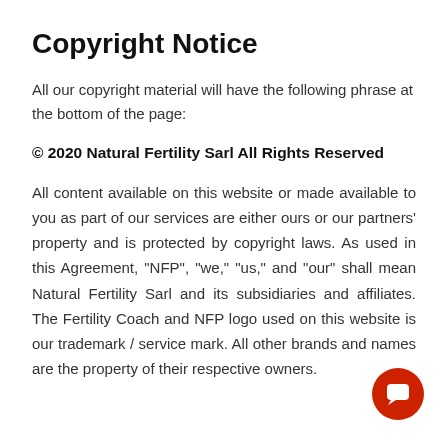Copyright Notice
All our copyright material will have the following phrase at the bottom of the page:
© 2020 Natural Fertility Sarl All Rights Reserved
All content available on this website or made available to you as part of our services are either ours or our partners' property and is protected by copyright laws. As used in this Agreement, “NFP”, “we,” “us,” and “our” shall mean Natural Fertility Sarl and its subsidiaries and affiliates. The Fertility Coach and NFP logo used on this website is our trademark / service mark. All other brands and names are the property of their respective owners.
[Figure (illustration): Red circular chat/support button with speech bubble icon in the bottom right corner]